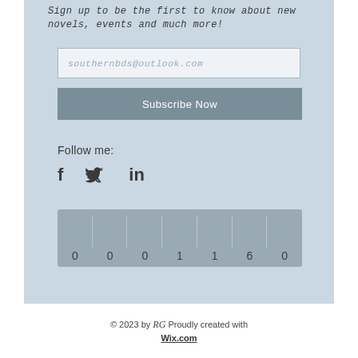Sign up to be the first to know about new novels, events and much more!
southernbds@outlook.com
Subscribe Now
Follow me:
[Figure (infographic): Social media icons: Facebook (f), Twitter (bird), LinkedIn (in)]
[Figure (infographic): Counter widget showing digits: 0 0 0 1 1 6 0]
© 2023 by RG Proudly created with Wix.com